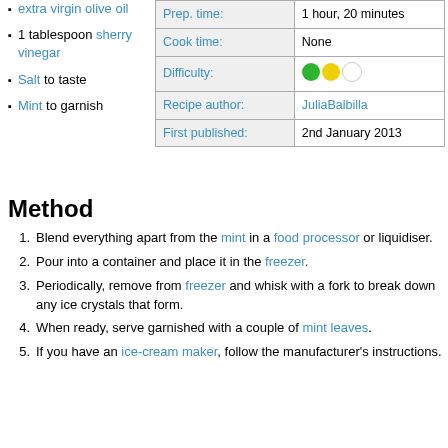extra virgin olive oil
1 tablespoon sherry vinegar
Salt to taste
Mint to garnish
|  |  |
| --- | --- |
| Prep. time: | 1 hour, 20 minutes |
| Cook time: | None |
| Difficulty: | ●●○ |
| Recipe author: | JuliaBalbilla |
| First published: | 2nd January 2013 |
Method
Blend everything apart from the mint in a food processor or liquidiser.
Pour into a container and place it in the freezer.
Periodically, remove from freezer and whisk with a fork to break down any ice crystals that form.
When ready, serve garnished with a couple of mint leaves.
If you have an ice-cream maker, follow the manufacturer's instructions.